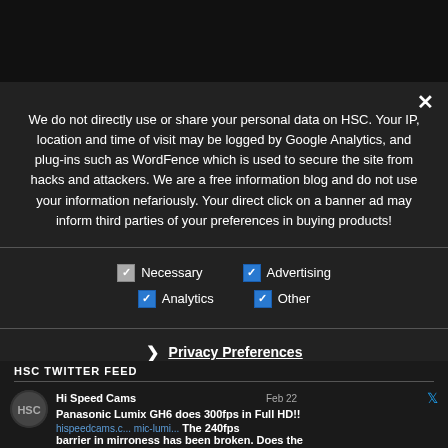We do not directly use or share your personal data on HSC. Your IP, location and time of visit may be logged by Google Analytics, and plug-ins such as WordFence which is used to secure the site from hacks and attackers. We are a free information blog and do not use your information nefariously. Your direct click on a banner ad may inform third parties of your preferences in buying products!
Necessary | Advertising | Analytics | Other
Privacy Preferences
I Agree
HSC TWITTER FEED
Hi Speed Cams Feb 22 Panasonic Lumix GH6 does 300fps in Full HD!! hispeedcams.c... mic-lumi... The 240fps barrier in mirroness has been broken. Does the